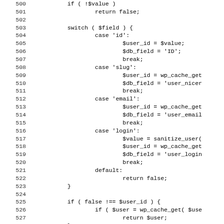[Figure (screenshot): Source code listing showing PHP code lines 500-531, including if/switch statements with cases for 'id', 'slug', 'email', 'login', and a default case, followed by cache get calls and a database query. Lines are truncated on the right side.]